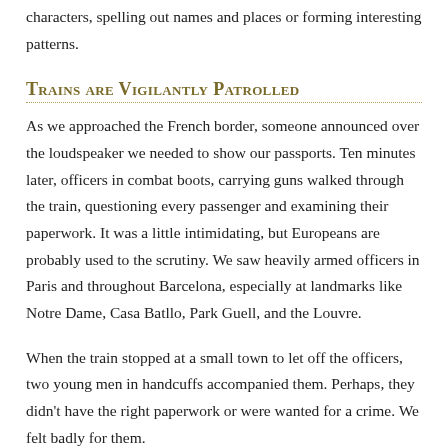characters, spelling out names and places or forming interesting patterns.
Trains are Vigilantly Patrolled
As we approached the French border, someone announced over the loudspeaker we needed to show our passports. Ten minutes later, officers in combat boots, carrying guns walked through the train, questioning every passenger and examining their paperwork. It was a little intimidating, but Europeans are probably used to the scrutiny. We saw heavily armed officers in Paris and throughout Barcelona, especially at landmarks like Notre Dame, Casa Batllo, Park Guell, and the Louvre.
When the train stopped at a small town to let off the officers, two young men in handcuffs accompanied them. Perhaps, they didn't have the right paperwork or were wanted for a crime. We felt badly for them.